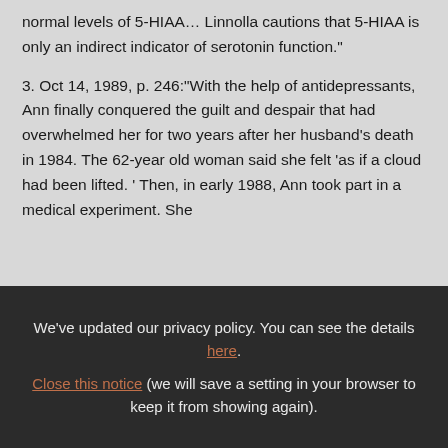normal levels of 5-HIAA… Linnolla cautions that 5-HIAA is only an indirect indicator of serotonin function."
3. Oct 14, 1989, p. 246:"With the help of antidepressants, Ann finally conquered the guilt and despair that had overwhelmed her for two years after her husband's death in 1984. The 62-year old woman said she felt 'as if a cloud had been lifted. ' Then, in early 1988, Ann took part in a medical experiment. She
We've updated our privacy policy. You can see the details here. Close this notice (we will save a setting in your browser to keep it from showing again).